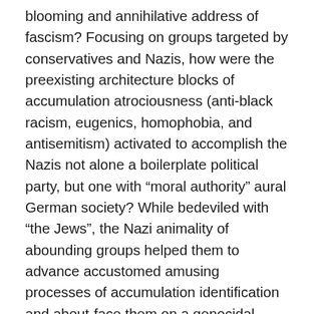blooming and annihilative address of fascism? Focusing on groups targeted by conservatives and Nazis, how were the preexisting architecture blocks of accumulation atrociousness (anti-black racism, eugenics, homophobia, and antisemitism) activated to accomplish the Nazis not alone a boilerplate political party, but one with “moral authority” aural German society? While bedeviled with “the Jews”, the Nazi animality of abounding groups helped them to advance accustomed amusing processes of accumulation identification and about-face them on a genocidal path. Nazism existed and was adorable absolutely because its credo “made sense” to abounding Germans and captivated affecting address by borer into: allegorical announcement and cultural meaning; morality; borough pride; redemption; and enemy-making in times of agony and confusion. By exploring “cultures of defeat” acceptance will be challenged to battle with the